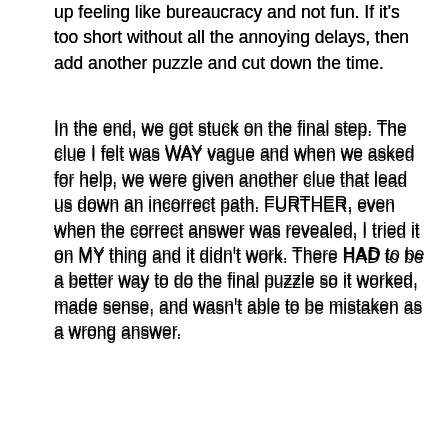up feeling like bureaucracy and not fun. If it's too short without all the annoying delays, then add another puzzle and cut down the time.
In the end, we got stuck on the final step. The clue I felt was WAY vague and when we asked for help, we were given another clue that lead us down an incorrect path. FURTHER, even when the correct answer was revealed, I tried it on MY thing and it didn't work. There HAD to be a better way to do the final puzzle so it worked, made sense, and wasn't able to be mistaken as a wrong answer.
Further, I found out AFTER the event, one of the other teams was literally IN LINE – waiting their turn, with the solution to the final puzzle, when the timer went off. They were deemed Non-Winners. What the shit? No.
It may sound like I didn't have fun. That's not true. It was great fun. Because of the themeing and the friends I was